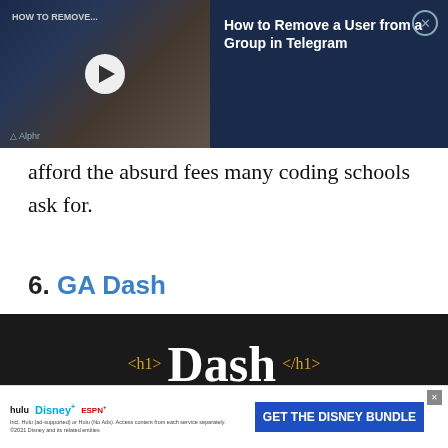[Figure (screenshot): Ad banner for 'How to Remove a User from a Group in Telegram' with video thumbnail on left showing hands holding phone, play button, Alphr logo, and article title on dark navy background on right with close button]
afford the absurd fees many coding schools ask for.
6. GA Dash
[Figure (screenshot): Dark background image showing GA Dash by General Assembly logo with HTML tags <h1> Dash </h1> in white and yellow text on black background, with close button]
[Figure (screenshot): Disney Bundle advertisement banner at bottom with Hulu, Disney+, ESPN+ logos and 'GET THE DISNEY BUNDLE' button, with fine print about Hulu ad-supported and related entities]